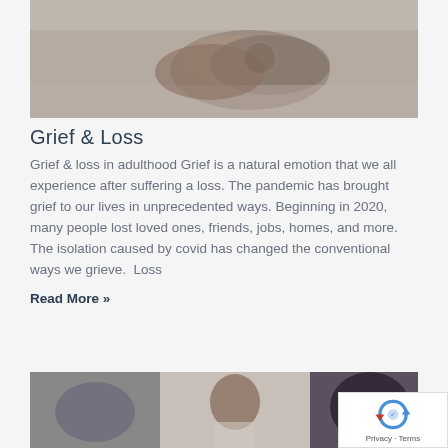[Figure (photo): Close-up of hands clasped together, possibly in a hospital setting, showing comfort or support]
Grief & Loss
Grief & loss in adulthood Grief is a natural emotion that we all experience after suffering a loss. The pandemic has brought grief to our lives in unprecedented ways. Beginning in 2020, many people lost loved ones, friends, jobs, homes, and more. The isolation caused by covid has changed the conventional ways we grieve.  Loss
Read More »
[Figure (photo): Two people visible in a room, appears to be a counseling or conversation setting]